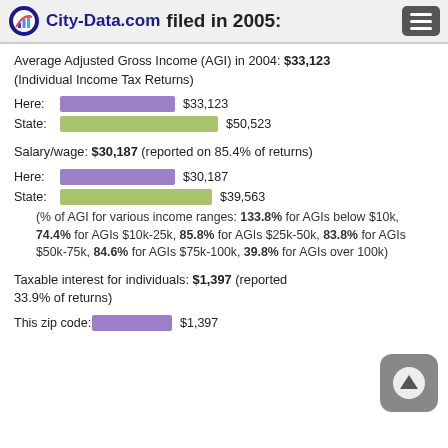City-Data.com  filed in 2005:
Average Adjusted Gross Income (AGI) in 2004: $33,123 (Individual Income Tax Returns)
[Figure (bar-chart): Average AGI Here vs State]
Salary/wage: $30,187 (reported on 85.4% of returns)
[Figure (bar-chart): Salary/wage Here vs State]
(% of AGI for various income ranges: 133.8% for AGIs below $10k, 74.4% for AGIs $10k-25k, 85.8% for AGIs $25k-50k, 83.8% for AGIs $50k-75k, 84.6% for AGIs $75k-100k, 39.8% for AGIs over 100k)
Taxable interest for individuals: $1,397 (reported 33.9% of returns)
This zip code:  $1,397